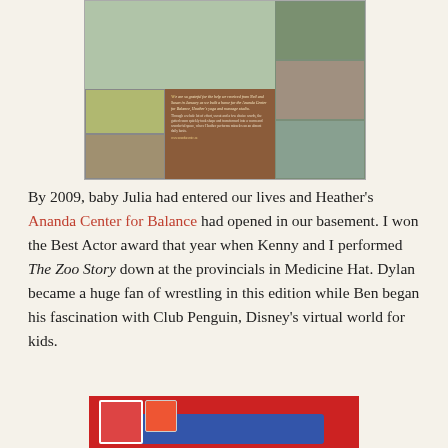[Figure (photo): A family newsletter page showing photos of family members, a yoga/massage studio interior, and a brown block with text about the Ananda Center for Balance.]
By 2009, baby Julia had entered our lives and Heather's Ananda Center for Balance had opened in our basement. I won the Best Actor award that year when Kenny and I performed The Zoo Story down at the provincials in Medicine Hat. Dylan became a huge fan of wrestling in this edition while Ben began his fascination with Club Penguin, Disney's virtual world for kids.
[Figure (photo): A Club Penguin or similar children's virtual world branded image with red background and blue banner.]